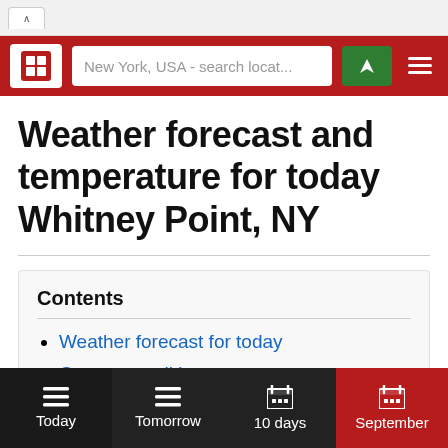New York, USA - search locat...
Weather forecast and temperature for today Whitney Point, NY
Contents
Weather forecast for today
Current condition
Frequently asked questions
Today  Tomorrow  10 days  September